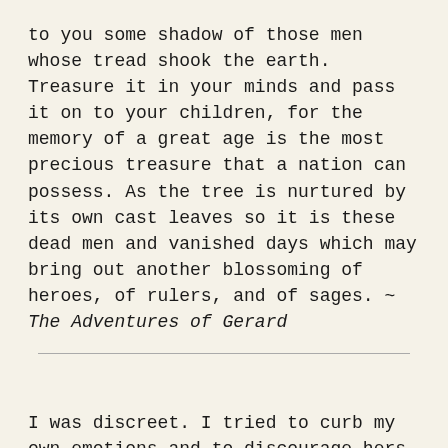to you some shadow of those men whose tread shook the earth. Treasure it in your minds and pass it on to your children, for the memory of a great age is the most precious treasure that a nation can possess. As the tree is nurtured by its own cast leaves so it is these dead men and vanished days which may bring out another blossoming of heroes, of rulers, and of sages. ~ The Adventures of Gerard
I was discreet. I tried to curb my own emotions and to discourage hers. For my own part I fear that I betrayed myself, for the eye becomes more eloquent when the tongue is silent. ~ The Adventures of Gerard